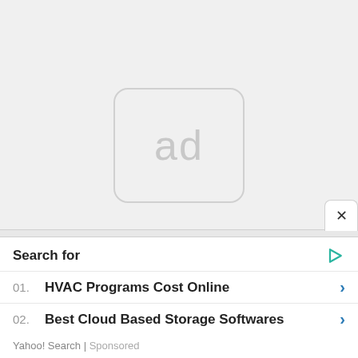[Figure (other): Ad placeholder icon with rounded rectangle and 'ad' text in gray]
← Previous Post
Next Post →
Search for
01. HVAC Programs Cost Online
02. Best Cloud Based Storage Softwares
Yahoo! Search | Sponsored